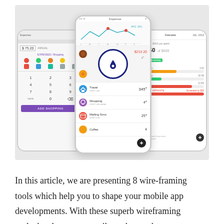[Figure (screenshot): Three smartphone screens showing a mobile expense tracking app with categories, charts, budget overview, and transaction lists.]
In this article, we are presenting 8 wire-framing tools which help you to shape your mobile app developments. With these superb wireframing tools developers can easily understand an app navigation flow. When you use these useful and helpful